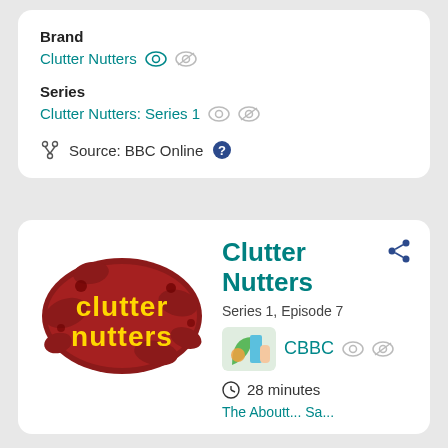Brand
Clutter Nutters
Series
Clutter Nutters: Series 1
Source: BBC Online
[Figure (logo): Clutter Nutters logo - red splat background with yellow text reading 'clutter nutters']
Clutter Nutters
Series 1, Episode 7
CBBC
28 minutes